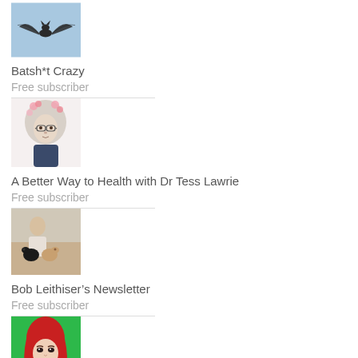[Figure (photo): Bat photo thumbnail]
Batsh*t Crazy
Free subscriber
[Figure (illustration): Illustrated portrait of a woman with glasses and pink cherry blossoms]
A Better Way to Health with Dr Tess Lawrie
Free subscriber
[Figure (photo): Photo of a man with two dogs outdoors]
Bob Leithiser's Newsletter
Free subscriber
[Figure (illustration): Illustrated portrait of a woman with red hair on green background]